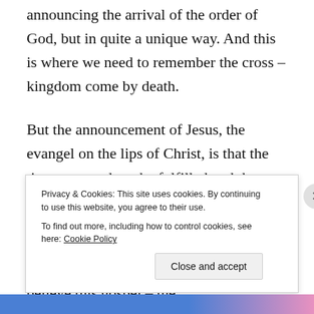announcing the arrival of the order of God, but in quite a unique way. And this is where we need to remember the cross – kingdom come by death.
But the announcement of Jesus, the evangel on the lips of Christ, is that the time was ready to be fulfilled and the kingdom of God was coming.
And how are they to respond? Repent (turn around and think differently) and believe this gospel – the
Privacy & Cookies: This site uses cookies. By continuing to use this website, you agree to their use.
To find out more, including how to control cookies, see here: Cookie Policy
Close and accept